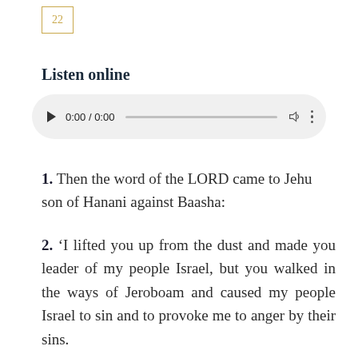22
Listen online
[Figure (other): Audio player with play button, time display 0:00 / 0:00, progress bar, volume icon, and more options icon]
1. Then the word of the LORD came to Jehu son of Hanani against Baasha:
2. ‘I lifted you up from the dust and made you leader of my people Israel, but you walked in the ways of Jeroboam and caused my people Israel to sin and to provoke me to anger by their sins.